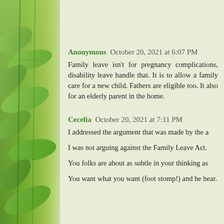[Figure (photo): Green leaves background image on left side of page]
Anonymous October 20, 2021 at 6:07 PM
Family leave isn't for pregnancy complications, disability leave handle that. It is to allow a family care for a new child. Fathers are eligible too. It also for an elderly parent in the home.
Cecelia October 20, 2021 at 7:11 PM
I addressed the argument that was made by the a
I was not arguing against the Family Leave Act.
You folks are about as subtle in your thinking as
You want what you want (foot stomp!) and he hear.